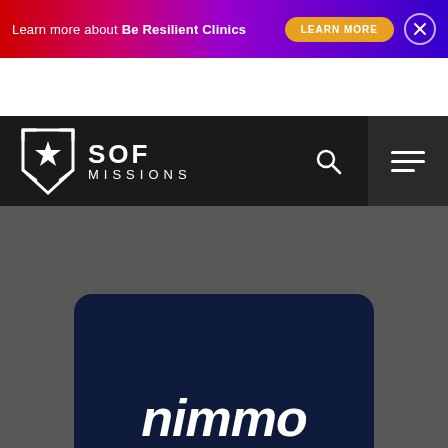[Figure (screenshot): Top banner ad with gradient background (red to purple) reading 'Learn more about Be Resilient Clinics' with a 'LEARN MORE' orange button and an X close button]
[Figure (logo): SOF Missions logo: white shield with star, text 'SOF MISSIONS' in white on dark background navigation bar, with search icon and hamburger menu]
[Figure (screenshot): Dark gray main content area with a dark navy card partially visible at bottom containing large white italic text beginning with letters that appear to spell 'nimmo' or similar]